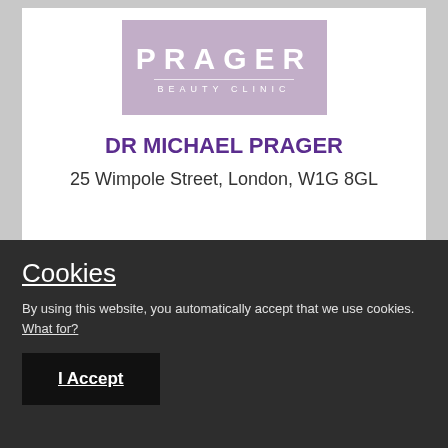[Figure (logo): Prager Beauty Clinic logo — mauve/lilac rectangle with white text 'PRAGER' in large letters and 'BEAUTY CLINIC' in spaced small caps below a thin line]
DR MICHAEL PRAGER
25 Wimpole Street, London, W1G 8GL
Dr Michael Prager, located in Wimpole Street, London
Cookies
By using this website, you automatically accept that we use cookies. What for?
I Accept